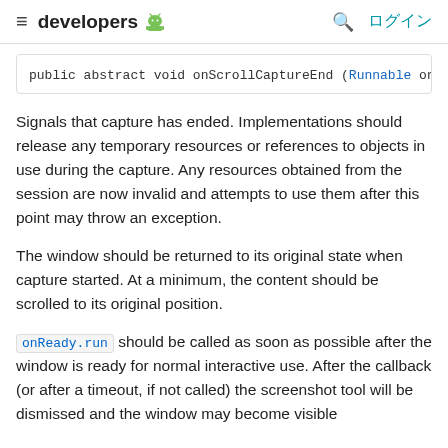≡ developers 🤖  🔍 ログイン
public abstract void onScrollCaptureEnd (Runnable on
Signals that capture has ended. Implementations should release any temporary resources or references to objects in use during the capture. Any resources obtained from the session are now invalid and attempts to use them after this point may throw an exception.
The window should be returned to its original state when capture started. At a minimum, the content should be scrolled to its original position.
onReady.run should be called as soon as possible after the window is ready for normal interactive use. After the callback (or after a timeout, if not called) the screenshot tool will be dismissed and the window may become visible